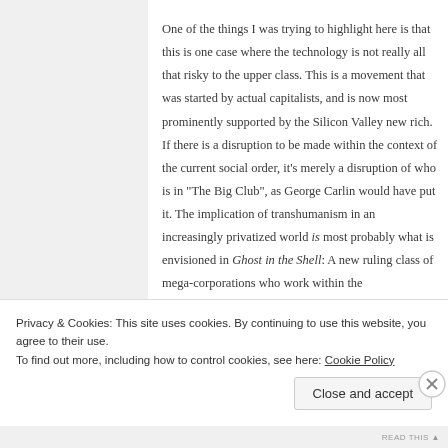One of the things I was trying to highlight here is that this is one case where the technology is not really all that risky to the upper class. This is a movement that was started by actual capitalists, and is now most prominently supported by the Silicon Valley new rich. If there is a disruption to be made within the context of the current social order, it’s merely a disruption of who is in “The Big Club”, as George Carlin would have put it. The implication of transhumanism in an increasingly privatized world is most probably what is envisioned in Ghost in the Shell: A new ruling class of mega-corporations who work within the military/police/bureaucratic-industrial complex, maintain
Privacy & Cookies: This site uses cookies. By continuing to use this website, you agree to their use.
To find out more, including how to control cookies, see here: Cookie Policy
Close and accept